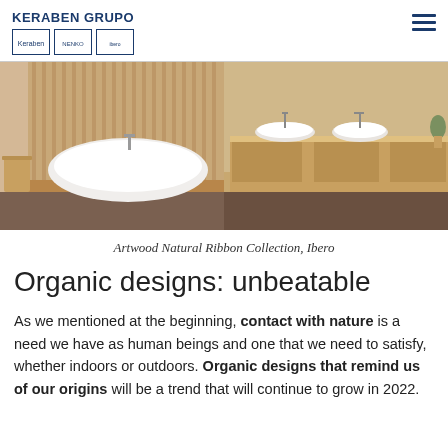KERABEN GRUPO
[Figure (photo): Luxury bathroom scene with freestanding white oval bathtub on wooden platform with vertical wood slat wall background on left, and wooden vanity unit with two round white vessel sinks and open shelving on right. Warm wood tones throughout.]
Artwood Natural Ribbon Collection, Ibero
Organic designs: unbeatable
As we mentioned at the beginning, contact with nature is a need we have as human beings and one that we need to satisfy, whether indoors or outdoors. Organic designs that remind us of our origins will be a trend that will continue to grow in 2022.